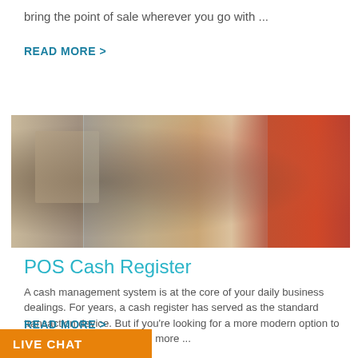bring the point of sale wherever you go with ...
READ MORE >
[Figure (photo): Photo of a retail counter transaction scene: a person in dark clothing behind a counter and a person in a red jacket handing over payment, with display cases visible]
POS Cash Register
A cash management system is at the core of your daily business dealings. For years, a cash register has served as the standard transaction device. But if you're looking for a more modern option to help your business become more ...
READ MORE >
LIVE CHAT